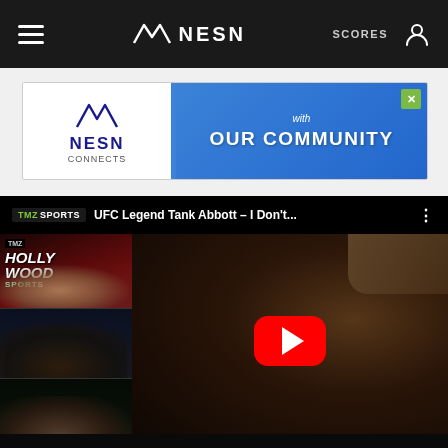NESN — navigation bar with hamburger menu, NESN logo, SCORES link, and user account icon
[Figure (screenshot): NESN Connects with Our Community advertisement banner]
[Figure (screenshot): YouTube embedded video thumbnail: TMZ Sports — UFC Legend Tank Abbott – I Don't... with play button overlay, showing TMZ Hollywood Sports panel on left and elderly bearded man lying down on right]